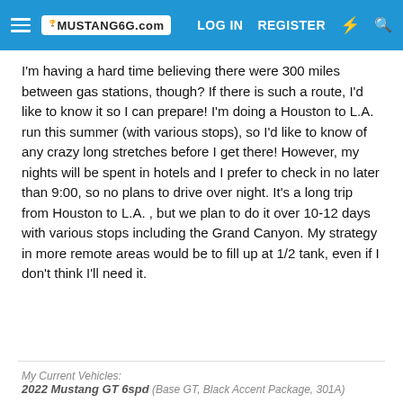MUSTANG6G.com  LOG IN  REGISTER
I'm having a hard time believing there were 300 miles between gas stations, though? If there is such a route, I'd like to know it so I can prepare! I'm doing a Houston to L.A. run this summer (with various stops), so I'd like to know of any crazy long stretches before I get there! However, my nights will be spent in hotels and I prefer to check in no later than 9:00, so no plans to drive over night. It's a long trip from Houston to L.A. , but we plan to do it over 10-12 days with various stops including the Grand Canyon. My strategy in more remote areas would be to fill up at 1/2 tank, even if I don't think I'll need it.
My Current Vehicles:
2022 Mustang GT 6spd (Base GT, Black Accent Package, 301A)
Weyland-Yutani